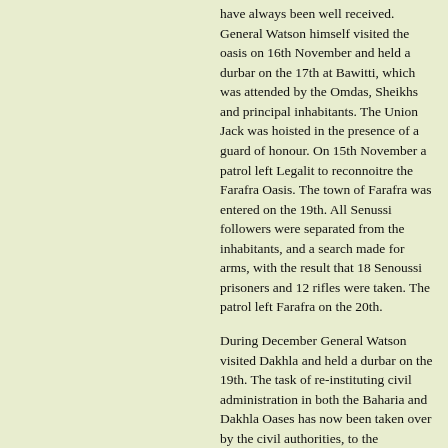have always been well received. General Watson himself visited the oasis on 16th November and held a durbar on the 17th at Bawitti, which was attended by the Omdas, Sheikhs and principal inhabitants. The Union Jack was hoisted in the presence of a guard of honour. On 15th November a patrol left Legalit to reconnoitre the Farafra Oasis. The town of Farafra was entered on the 19th. All Senussi followers were separated from the inhabitants, and a search made for arms, with the result that 18 Senoussi prisoners and 12 rifles were taken. The patrol left Farafra on the 20th.
During December General Watson visited Dakhla and held a durbar on the 19th. The task of re-instituting civil administration in both the Baharia and Dakhla Oases has now been taken over by the civil authorities, to the gratification of the inhabitants, and trade is being encouraged as much as possible.
In the other sections of the western front the work done by the light and armoured cars, owing to the dash and enterprise of their officers, has been uniformly excellent. They are the terror of all the ill-disposed in the Western Desert, and to them, as much as to any, is due the satisfactory state of things which exists throughout from the